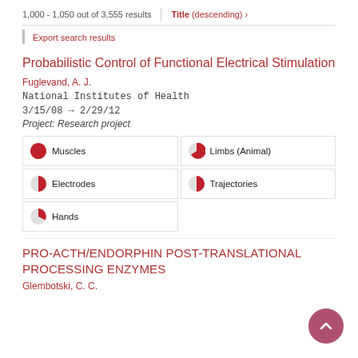1,000 - 1,050 out of 3,555 results | Title (descending) >
Export search results
Probabilistic Control of Functional Electrical Stimulation
Fuglevand, A. J.
National Institutes of Health
3/15/08 → 2/29/12
Project: Research project
Muscles (100%)
Limbs (Animal) (~70%)
Electrodes (~55%)
Trajectories (~50%)
Hands (~35%)
PRO-ACTH/ENDORPHIN POST-TRANSLATIONAL PROCESSING ENZYMES
Glembotski, C. C.